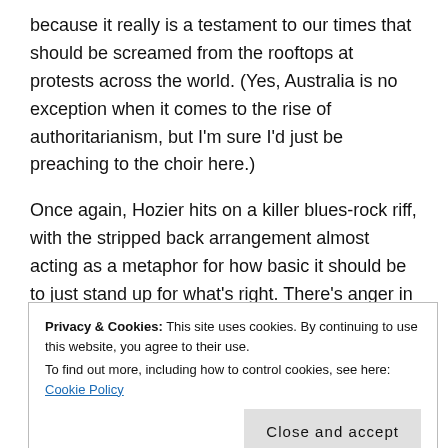because it really is a testament to our times that should be screamed from the rooftops at protests across the world. (Yes, Australia is no exception when it comes to the rise of authoritarianism, but I'm sure I'd just be preaching to the choir here.)
Once again, Hozier hits on a killer blues-rock riff, with the stripped back arrangement almost acting as a metaphor for how basic it should be to just stand up for what's right. There's anger in the drums and in the growl of the guitar, and almost a disdainful sneer in Hozier's delivery directed at those in power, while somehow simultaneously communicating a sense of pleading and a call to
Privacy & Cookies: This site uses cookies. By continuing to use this website, you agree to their use.
To find out more, including how to control cookies, see here: Cookie Policy
Close and accept
supporting the album he'd released only a few months before.